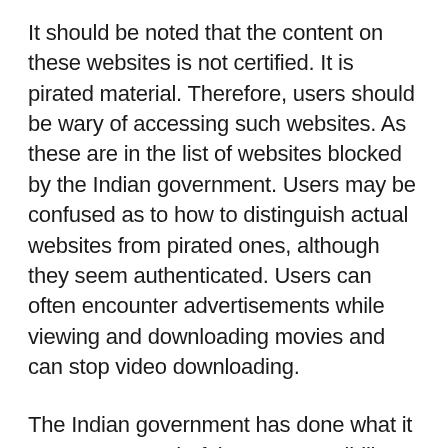It should be noted that the content on these websites is not certified. It is pirated material. Therefore, users should be wary of accessing such websites. As these are in the list of websites blocked by the Indian government. Users may be confused as to how to distinguish actual websites from pirated ones, although they seem authenticated. Users can often encounter advertisements while viewing and downloading movies and can stop video downloading.
The Indian government has done what it can to prevent theft in every possibility. However, one or two are established now and then. Users should stop watching and